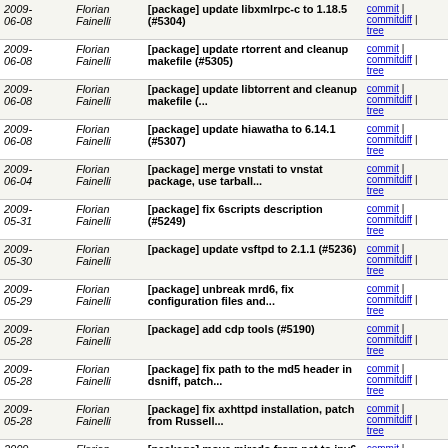| Date | Author | Message | Links |
| --- | --- | --- | --- |
| 2009-06-08 | Florian Fainelli | [package] update libxmlrpc-c to 1.18.5 (#5304) | commit | commitdiff | tree |
| 2009-06-08 | Florian Fainelli | [package] update rtorrent and cleanup makefile (#5305) | commit | commitdiff | tree |
| 2009-06-08 | Florian Fainelli | [package] update libtorrent and cleanup makefile (... | commit | commitdiff | tree |
| 2009-06-08 | Florian Fainelli | [package] update hiawatha to 6.14.1 (#5307) | commit | commitdiff | tree |
| 2009-06-04 | Florian Fainelli | [package] merge vnstati to vnstat package, use tarball... | commit | commitdiff | tree |
| 2009-05-31 | Florian Fainelli | [package] fix 6scripts description (#5249) | commit | commitdiff | tree |
| 2009-05-30 | Florian Fainelli | [package] update vsftpd to 2.1.1 (#5236) | commit | commitdiff | tree |
| 2009-05-29 | Florian Fainelli | [package] unbreak mrd6, fix configuration files and... | commit | commitdiff | tree |
| 2009-05-28 | Florian Fainelli | [package] add cdp tools (#5190) | commit | commitdiff | tree |
| 2009-05-28 | Florian Fainelli | [package] fix path to the md5 header in dsniff, patch... | commit | commitdiff | tree |
| 2009-05-28 | Florian Fainelli | [package] fix axhttpd installation, patch from Russell... | commit | commitdiff | tree |
| 2009-05-28 | Florian Fainelli | [package] move miredo from net to ipv6 | commit | commitdiff | tree |
| 2009-05-28 | Florian Fainelli | [package] fix location of miredo sample configuration... | commit | commitdiff | tree |